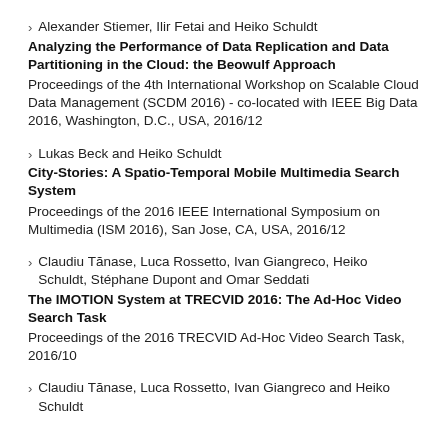Alexander Stiemer, Ilir Fetai and Heiko Schuldt
Analyzing the Performance of Data Replication and Data Partitioning in the Cloud: the Beowulf Approach
Proceedings of the 4th International Workshop on Scalable Cloud Data Management (SCDM 2016) - co-located with IEEE Big Data 2016, Washington, D.C., USA, 2016/12
Lukas Beck and Heiko Schuldt
City-Stories: A Spatio-Temporal Mobile Multimedia Search System
Proceedings of the 2016 IEEE International Symposium on Multimedia (ISM 2016), San Jose, CA, USA, 2016/12
Claudiu Tănase, Luca Rossetto, Ivan Giangreco, Heiko Schuldt, Stéphane Dupont and Omar Seddati
The IMOTION System at TRECVID 2016: The Ad-Hoc Video Search Task
Proceedings of the 2016 TRECVID Ad-Hoc Video Search Task, 2016/10
Claudiu Tănase, Luca Rossetto, Ivan Giangreco and Heiko Schuldt